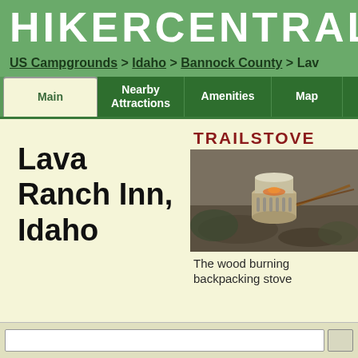HIKERCENTRAL
US Campgrounds > Idaho > Bannock County > Lav
Main | Nearby Attractions | Amenities | Map | Con
Lava Ranch Inn, Idaho
[Figure (photo): Advertisement for TRAILSTOVE - a wood burning backpacking stove, showing an image of a camp stove with text 'The wood burning backpacking stove']